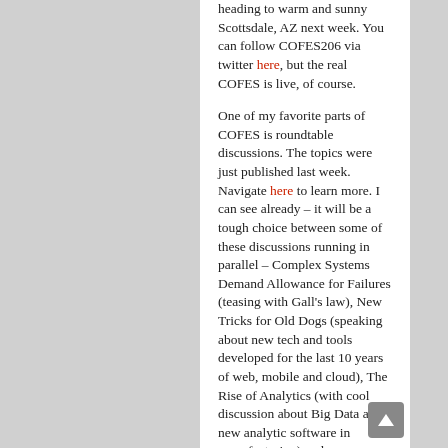heading to warm and sunny Scottsdale, AZ next week. You can follow COFES206 via twitter here, but the real COFES is live, of course.
One of my favorite parts of COFES is roundtable discussions. The topics were just published last week. Navigate here to learn more. I can see already – it will be a tough choice between some of these discussions running in parallel – Complex Systems Demand Allowance for Failures (teasing with Gall's law), New Tricks for Old Dogs (speaking about new tech and tools developed for the last 10 years of web, mobile and cloud), The Rise of Analytics (with cool discussion about Big Data and new analytic software in manufacturing) and many others.